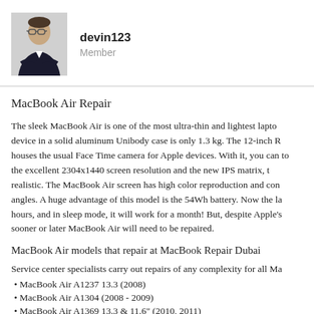devin123 Member
MacBook Air Repair
The sleek MacBook Air is one of the most ultra-thin and lightest lapto device in a solid aluminum Unibody case is only 1.3 kg. The 12-inch R houses the usual Face Time camera for Apple devices. With it, you can to the excellent 2304x1440 screen resolution and the new IPS matrix, t realistic. The MacBook Air screen has high color reproduction and con angles. A huge advantage of this model is the 54Wh battery. Now the la hours, and in sleep mode, it will work for a month! But, despite Apple's sooner or later MacBook Air will need to be repaired.
MacBook Air models that repair at MacBook Repair Dubai
Service center specialists carry out repairs of any complexity for all Ma
• MacBook Air A1237 13.3 (2008)
• MacBook Air A1304 (2008 - 2009)
• MacBook Air A1369 13.3 & 11.6" (2010, 2011)